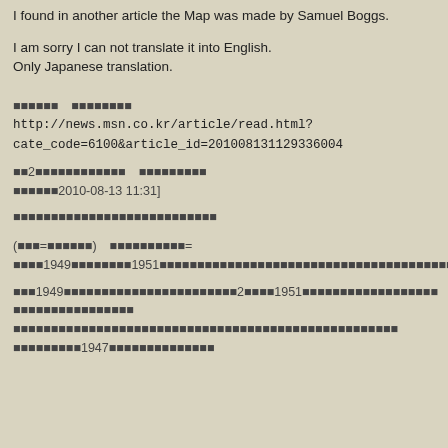I found in another article the Map was made by Samuel Boggs.
I am sorry I can not translate it into English.
Only Japanese translation.
⬛⬛⬛⬛⬛⬛　⬛⬛⬛⬛⬛⬛⬛⬛
http://news.msn.co.kr/article/read.html?cate_code=6100&article_id=201008131129336004
⬛⬛2⬛⬛⬛⬛⬛⬛⬛⬛⬛⬛⬛⬛　⬛⬛⬛⬛⬛⬛⬛⬛⬛
⬛⬛⬛⬛⬛⬛2010-08-13 11:31]
⬛⬛⬛⬛⬛⬛⬛⬛⬛⬛⬛⬛⬛⬛⬛⬛⬛⬛⬛⬛⬛⬛⬛⬛⬛⬛⬛
(⬛⬛⬛=⬛⬛⬛⬛⬛⬛)　⬛⬛⬛⬛⬛⬛⬛⬛⬛⬛=
⬛⬛⬛⬛1949⬛⬛⬛⬛⬛⬛⬛⬛1951⬛⬛⬛⬛⬛⬛⬛⬛⬛⬛⬛⬛⬛⬛⬛⬛⬛⬛⬛⬛⬛⬛⬛⬛⬛⬛⬛⬛⬛⬛⬛⬛⬛⬛⬛⬛⬛⬛⬛⬛⬛⬛
⬛⬛⬛1949⬛⬛⬛⬛⬛⬛⬛⬛⬛⬛⬛⬛⬛⬛⬛⬛⬛⬛⬛⬛⬛2⬛⬛⬛⬛1951⬛⬛⬛⬛⬛⬛⬛⬛⬛⬛⬛⬛⬛⬛⬛⬛⬛⬛
⬛⬛⬛⬛⬛⬛⬛⬛⬛⬛⬛⬛⬛⬛⬛⬛
⬛⬛⬛⬛⬛⬛⬛⬛⬛⬛⬛⬛⬛⬛⬛⬛⬛⬛⬛⬛⬛⬛⬛⬛⬛⬛⬛⬛⬛⬛⬛⬛⬛⬛⬛⬛⬛⬛⬛⬛⬛⬛⬛⬛⬛⬛⬛⬛⬛⬛⬛
⬛⬛⬛⬛⬛⬛⬛⬛⬛1947⬛⬛⬛⬛⬛⬛⬛⬛⬛⬛⬛⬛⬛⬛